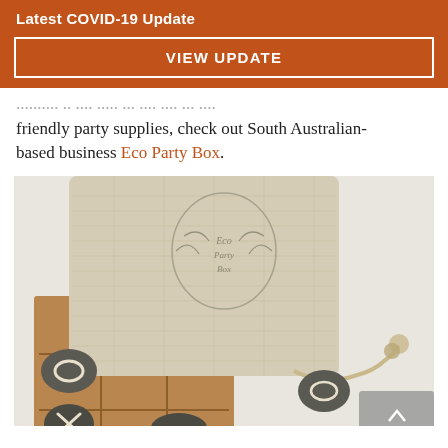Latest COVID-19 Update
VIEW UPDATE
...friendly party supplies, check out South Australian-based business Eco Party Box.
[Figure (photo): A linen drawstring bag with a stamped botanical logo, sitting on a kraft paper tic-tac-toe grid with painted river stones as game pieces, on a white surface.]